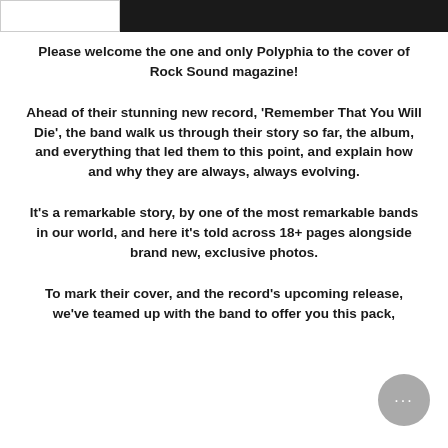[Figure (other): Header with white box on left and black bar on right]
Please welcome the one and only Polyphia to the cover of Rock Sound magazine!
Ahead of their stunning new record, 'Remember That You Will Die', the band walk us through their story so far, the album, and everything that led them to this point, and explain how and why they are always, always evolving.
It's a remarkable story, by one of the most remarkable bands in our world, and here it's told across 18+ pages alongside brand new, exclusive photos.
To mark their cover, and the record's upcoming release, we've teamed up with the band to offer you this pack,